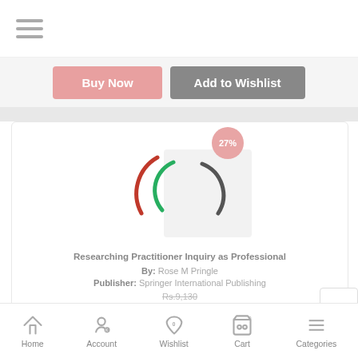≡ (hamburger menu)
[Figure (screenshot): Buy Now and Add to Wishlist buttons in a mobile e-commerce interface]
[Figure (illustration): Book cover loading spinner/placeholder with red, green, and dark arcs, and a 27% discount badge]
Researching Practitioner Inquiry as Professional
By: Rose M Pringle
Publisher: Springer International Publishing
Rs.9,130
Rs.6,665
Home   Account   Wishlist 0   Cart 0   Categories